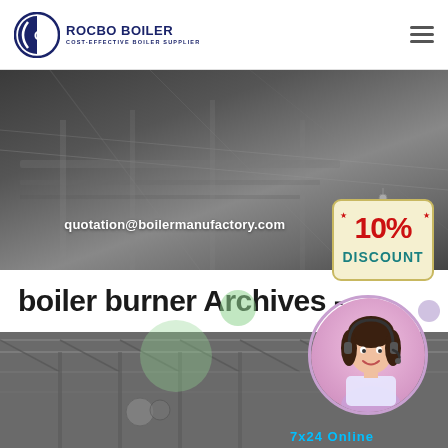[Figure (logo): ROCBO BOILER logo with circular C icon and tagline COST-EFFECTIVE BOILER SUPPLIER]
[Figure (screenshot): Dark industrial banner with email address quotation@boilermanufactory.com displayed in white bold text]
[Figure (infographic): 10% DISCOUNT badge in red and teal text on cream-colored hanging sign]
boiler burner Archives -
[Figure (photo): Factory interior showing steel roof trusses and industrial equipment; customer service representative circle avatar with headset overlay; 7x24 Online text at bottom right]